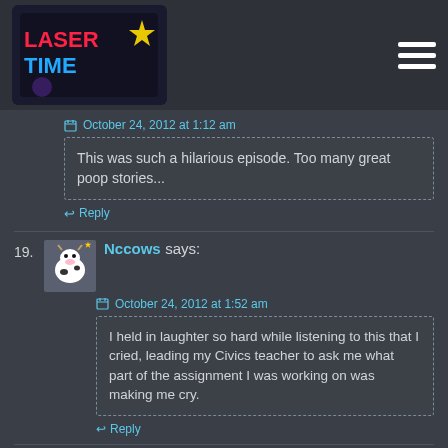Laser Time logo and navigation
October 24, 2012 at 1:12 am
This was such a hilarious episode. Too many great poop stories...
Reply
19. Nccows says:
October 24, 2012 at 1:52 am
I held in laughter so hard while listening to this that I cried, leading my Civics teacher to ask me what part of the assignment I was working on was making me cry.
Reply
20. EHyundai says:
October 24, 2012 at 2:19 am